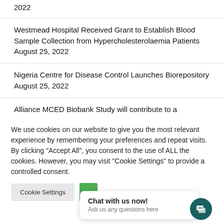2022
Westmead Hospital Received Grant to Establish Blood Sample Collection from Hypercholesterolaemia Patients August 25, 2022
Nigeria Centre for Disease Control Launches Biorepository August 25, 2022
Alliance MCED Biobank Study will contribute to a ...
We use cookies on our website to give you the most relevant experience by remembering your preferences and repeat visits. By clicking "Accept All", you consent to the use of ALL the cookies. However, you may visit "Cookie Settings" to provide a controlled consent.
Chat with us now! Ask us any questions here